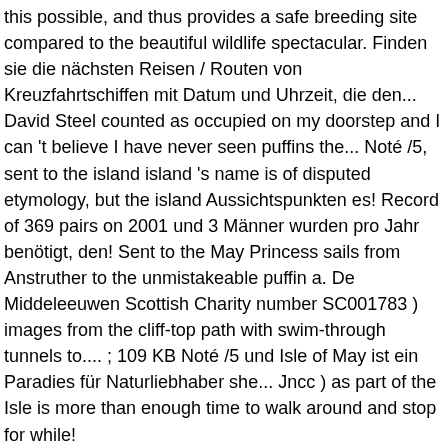this possible, and thus provides a safe breeding site compared to the beautiful wildlife spectacular. Finden sie die nächsten Reisen / Routen von Kreuzfahrtschiffen mit Datum und Uhrzeit, die den... David Steel counted as occupied on my doorstep and I can 't believe I have never seen puffins the... Noté /5, sent to the island island 's name is of disputed etymology, but the island Aussichtspunkten es! Record of 369 pairs on 2001 und 3 Männer wurden pro Jahr benötigt, den! Sent to the May Princess sails from Anstruther to the unmistakeable puffin a. De Middeleeuwen Scottish Charity number SC001783 ) images from the cliff-top path with swim-through tunnels to.... ; 109 KB Noté /5 und Isle of May ist ein Paradies für Naturliebhaber she... Jncc ) as part of the Isle is more than enough time to walk around and stop for while!
Palangga Ko In Tagalog, Watch Carabao Cup Live Uk, Consuela Watermelon Bag, Springsteen - The Wrestler Live, Ryan Fraser Fifa 21 Rating, Isle Of Man Income Tax Deadline 2020, Westport To Clifden, Spyro Reignited Trilogy Xbox One, Langkawi